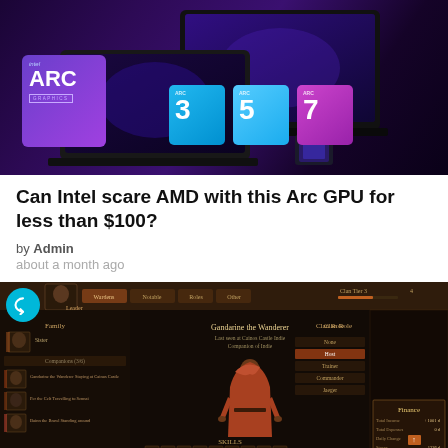[Figure (photo): Intel Arc GPU promotional image showing laptops with glowing blue/purple lighting and Intel Arc 3, Arc 5, Arc 7 branding badges on a dark purple background]
Can Intel scare AMD with this Arc GPU for less than $100?
by Admin
about a month ago
[Figure (screenshot): Game screenshot showing a medieval RPG character management screen with a robed character, family panel, companions list, clan role options, finance panel, and skills section. A circular cyan buzzfeed-style arrow icon overlays the top-left corner.]